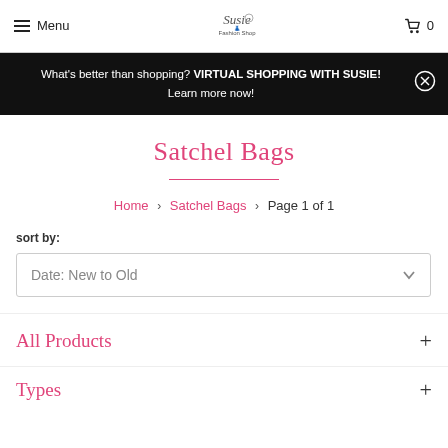Menu | Susie's Fashion Shop logo | Cart 0
What's better than shopping? VIRTUAL SHOPPING WITH SUSIE! Learn more now!
Satchel Bags
Home > Satchel Bags > Page 1 of 1
sort by:
Date: New to Old
All Products
Types